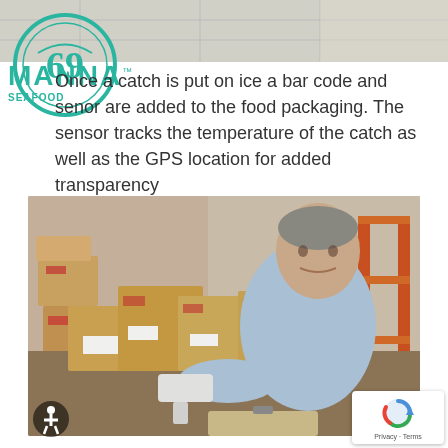[Figure (photo): Top portion of a warehouse/cold storage ceiling background image]
[Figure (logo): Manna Seafood circular logo with fish icon in teal, with MANNA text in teal and SEAFOOD below]
Once a catch is put on ice a bar code and senor are added to the food packaging. The sensor tracks the temperature of the catch as well as the GPS location for added transparency
[Figure (photo): Man in light blue shirt scanning boxes with a barcode scanner in a warehouse, with cardboard boxes stacked around him]